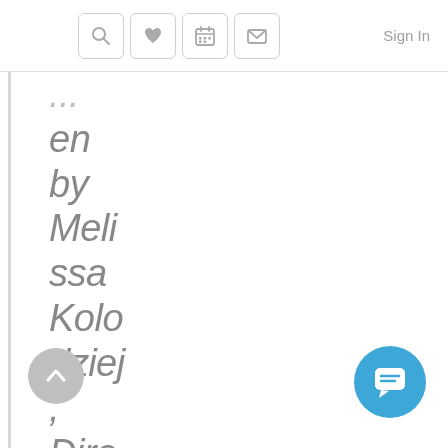Sign In
...en by Melissa Kolodziej, Director of Community Relations